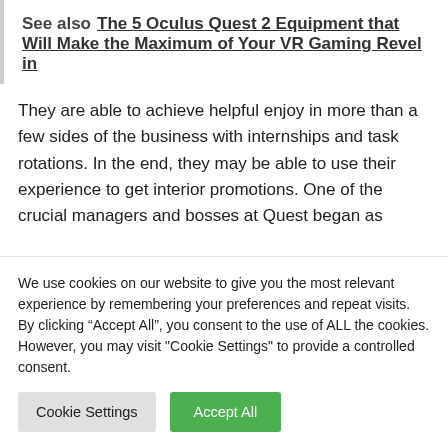See also   The 5 Oculus Quest 2 Equipment that Will Make the Maximum of Your VR Gaming Revel in
They are able to achieve helpful enjoy in more than a few sides of the business with internships and task rotations. In the end, they may be able to use their experience to get interior promotions. One of the crucial managers and bosses at Quest began as
We use cookies on our website to give you the most relevant experience by remembering your preferences and repeat visits. By clicking “Accept All”, you consent to the use of ALL the cookies. However, you may visit "Cookie Settings" to provide a controlled consent.